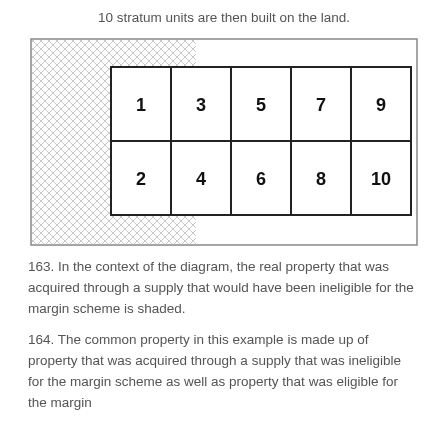10 stratum units are then built on the land.
[Figure (schematic): Diagram showing a large rectangle (outer boundary) with a crosshatched/shaded region on the left side. Inside the outer rectangle is an inner grid of 10 numbered units arranged in 2 rows and 5 columns (1-9 odd on top, 2-10 even on bottom). The shaded area covers the left portion including units 1 and 2, with the crosshatch pattern indicating property ineligible for the margin scheme.]
163. In the context of the diagram, the real property that was acquired through a supply that would have been ineligible for the margin scheme is shaded.
164. The common property in this example is made up of property that was acquired through a supply that was ineligible for the margin scheme as well as property that was eligible for the margin